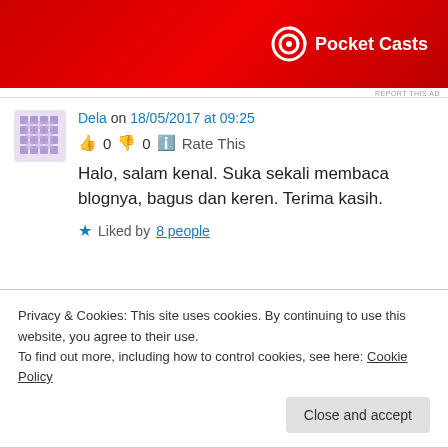[Figure (photo): Advertisement banner for Pocket Casts app showing a red background with a phone and Pocket Casts logo]
REPORT THIS AD
Dela on 18/05/2017 at 09:25
👍 0 👎 0 ℹ Rate This
Halo, salam kenal. Suka sekali membaca blognya, bagus dan keren. Terima kasih.
★ Liked by 8 people
Privacy & Cookies: This site uses cookies. By continuing to use this website, you agree to their use.
To find out more, including how to control cookies, see here: Cookie Policy